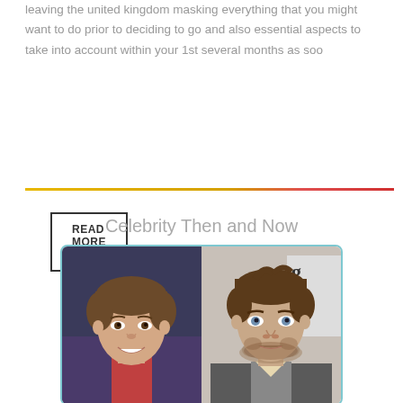leaving the united kingdom masking everything that you might want to do prior to deciding to go and also essential aspects to take into account within your 1st several months as soo
READ MORE ›
[Figure (other): Horizontal divider line with gradient from yellow/gold on the left to red on the right]
Celebrity Then and Now
[Figure (photo): Side-by-side comparison photo: left half shows a young boy celebrity, right half shows the same person as an adult man with stubble beard]